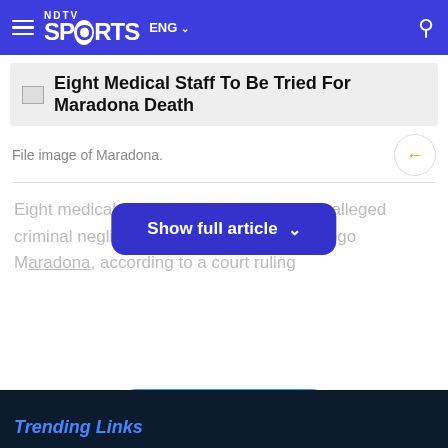NDTV Sports ENG
Eight Medical Staff To Be Tried For Maradona Death
File image of Maradona.
Eight medical personnel will stand trial for alleged criminal negligence ... tine football legend Diego Maradona, according to a court ruling
Show full article
Comments
Trending Links